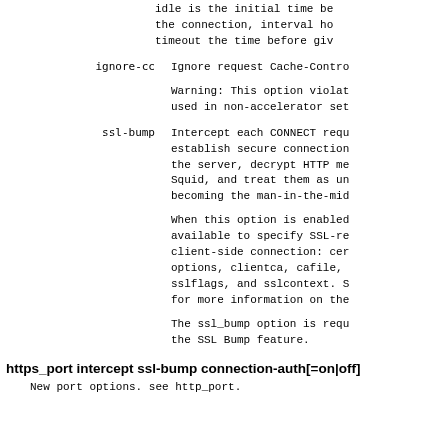idle is the initial time before the connection, interval how timeout the time before givi
ignore-cc   Ignore request Cache-Control

Warning: This option violate used in non-accelerator sett
ssl-bump    Intercept each CONNECT reque establish secure connection the server, decrypt HTTP me Squid, and treat them as un becoming the man-in-the-midd

When this option is enabled available to specify SSL-re client-side connection: cer options, clientca, cafile, sslflags, and sslcontext. S for more information on the

The ssl_bump option is requ the SSL Bump feature.
https_port intercept ssl-bump connection-auth[=on|off]
New port options. see http_port.